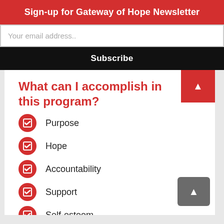Sign-up for Gateway of Hope Newsletter
Your email address..
Subscribe
What can I accomplish in this program?
Purpose
Hope
Accountability
Support
Self-esteem
Stability
Confidence